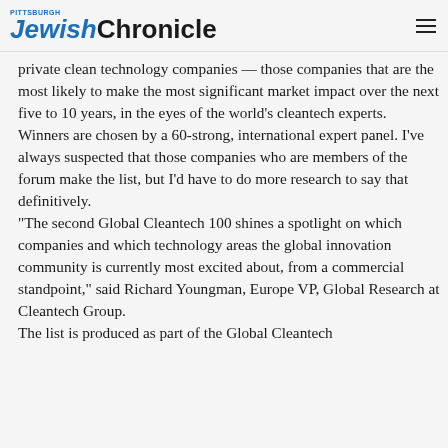Pittsburgh Jewish Chronicle
private clean technology companies — those companies that are the most likely to make the most significant market impact over the next five to 10 years, in the eyes of the world's cleantech experts. Winners are chosen by a 60-strong, international expert panel. I've always suspected that those companies who are members of the forum make the list, but I'd have to do more research to say that definitively. “The second Global Cleantech 100 shines a spotlight on which companies and which technology areas the global innovation community is currently most excited about, from a commercial standpoint,” said Richard Youngman, Europe VP, Global Research at Cleantech Group. The list is produced as part of the Global Cleantech